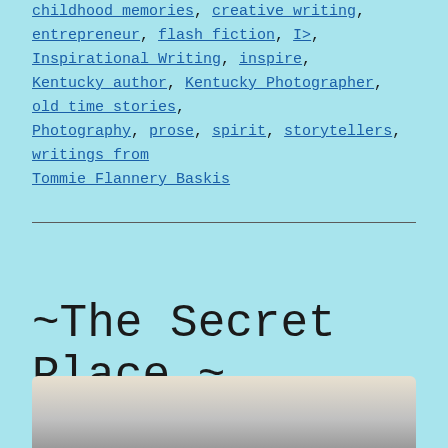Tagged Childhood memories, creative writing, entrepreneur, flash fiction, I>, Inspirational Writing, inspire, Kentucky author, Kentucky Photographer, old time stories, Photography, prose, spirit, storytellers, writings from Tommie Flannery Baskis
~The Secret Place ~
[Figure (photo): Partial view of a photograph at the bottom of the page, showing a grey/monochrome image with a light border]